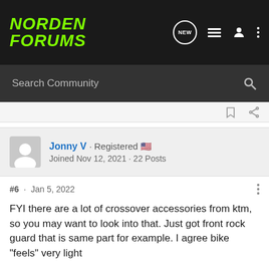NORDEN FORUMS
Search Community
Jonny V · Registered 🇺🇸
Joined Nov 12, 2021 · 22 Posts
#6 · Jan 5, 2022
FYI there are a lot of crossover accessories from ktm, so you may want to look into that. Just got front rock guard that is same part for example. I agree bike “feels” very light
dirt2street